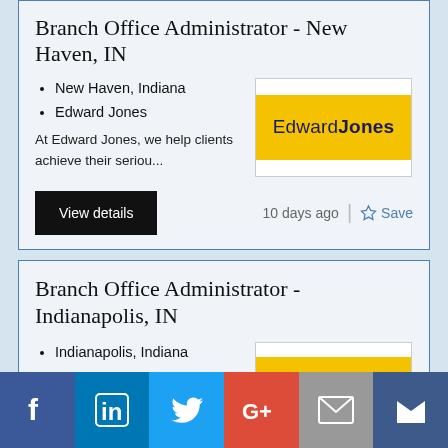Branch Office Administrator - New Haven, IN
New Haven, Indiana
Edward Jones
At Edward Jones, we help clients achieve their seriou...
[Figure (logo): Edward Jones logo: white top border, yellow background with 'Edward Jones' text in dark blue, white bottom border]
View details
10 days ago
Save
Branch Office Administrator - Indianapolis, IN
Indianapolis, Indiana
[Figure (logo): Edward Jones logo partial: white top stripe, yellow stripe visible]
[Figure (infographic): Social sharing bar with Facebook, LinkedIn, Twitter, Google+, Email, and crown/bookmark icon buttons]